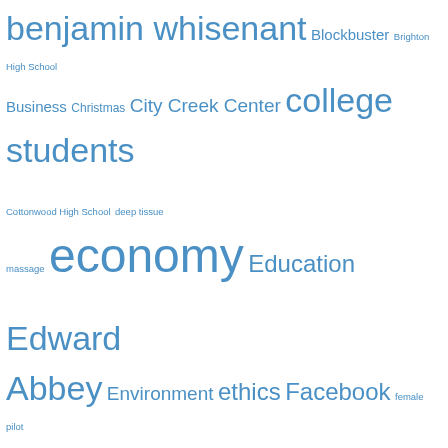[Figure (infographic): Tag cloud with blue-colored terms of varying font sizes related to journalism and education topics. Terms include: benjamin whisenant, Blockbuster, Brighton High School, Business, Christmas, City Creek Center, college students, Cottonwood High School, deep tissue massage, economy, Education, Edward Abbey, Environment, ethics, Facebook, female pilot, Floyd Norris, football, Fulbright, George Zimmerman, Government, Greek, greek life, Halloween, health, international student, Iraq, Jim Fisher, John Daley, journalism, journalism' Education' Jim Fisher, Kellen McCoy, KUER, Language Studies, LDS, LGBTQ, Marriott Library, Mayer-Brown, Media, morality, Morals, movie rental stores, Museum, Natural History, Networking, nutrition, Olympics, Pac-12, pilot, Politics, Radio West, Refugee, Russian, Salt Lake City, Sean Gustafson, SLC, Soccer, Social Media, sports stories, student journal, students, Susan Tolchin]